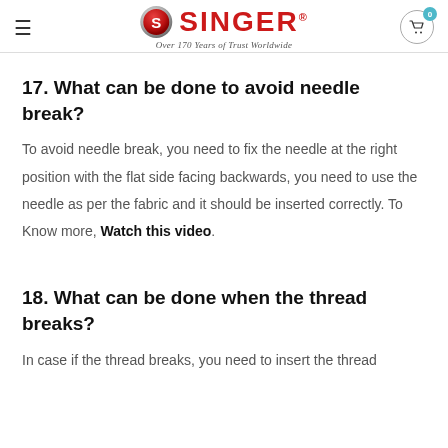SINGER® — Over 170 Years of Trust Worldwide
17. What can be done to avoid needle break?
To avoid needle break, you need to fix the needle at the right position with the flat side facing backwards, you need to use the needle as per the fabric and it should be inserted correctly. To Know more, Watch this video.
18. What can be done when the thread breaks?
In case if the thread breaks, you need to insert the thread